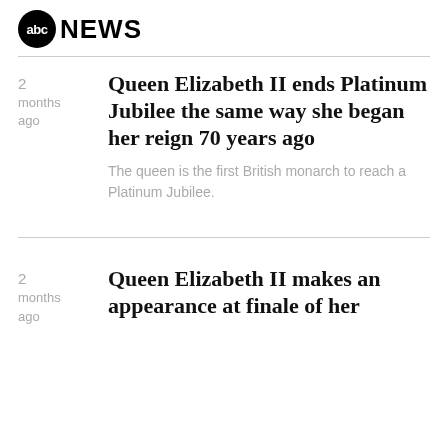abc NEWS
Queen Elizabeth II ends Platinum Jubilee the same way she began her reign 70 years ago
The queen is the first British monarch to reach a Platinum Jubilee.
Queen Elizabeth II makes an appearance at finale of her